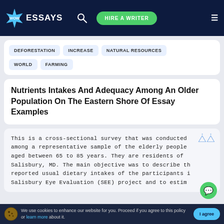WOW ESSAYS — HIRE A WRITER
DEFORESTATION
INCREASE
NATURAL RESOURCES
WORLD
FARMING
Nutrients Intakes And Adequacy Among An Older Population On The Eastern Shore Of Essay Examples
This is a cross-sectional survey that was conducted among a representative sample of the elderly people aged between 65 to 85 years. They are residents of Salisbury, MD. The main objective was to describe the reported usual dietary intakes of the participants in Salisbury Eye Evaluation (SEE) project and to esti...
We use cookies to enhance our website for you. Proceed if you agree to this policy or learn more about it.